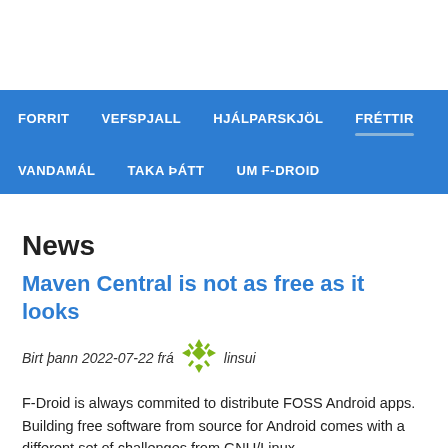FORRIT  VEFSPJALL  HJÁLPARSKJÖL  FRÉTTIR  VANDAMÁL  TAKA ÞÁTT  UM F-DROID
News
Maven Central is not as free as it looks
Birt þann 2022-07-22 frá linsui
F-Droid is always commited to distribute FOSS Android apps. Building free software from source for Android comes with a different set of challenges from GNU/Linux